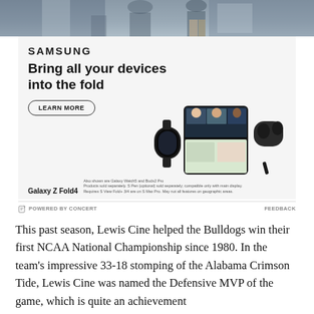[Figure (photo): Top portion of a photo showing people in a Samsung store or tech environment, partially cropped]
[Figure (screenshot): Samsung advertisement for Galaxy Z Fold4. Shows Samsung logo, headline 'Bring all your devices into the fold', a Learn More button, product image of Galaxy Z Fold4 with Galaxy Watch and Buds2 Pro, and fine print disclaimers.]
POWERED BY CONCERT
FEEDBACK
This past season, Lewis Cine helped the Bulldogs win their first NCAA National Championship since 1980. In the team's impressive 33-18 stomping of the Alabama Crimson Tide, Lewis Cine was named the Defensive MVP of the game, which is quite an achievement